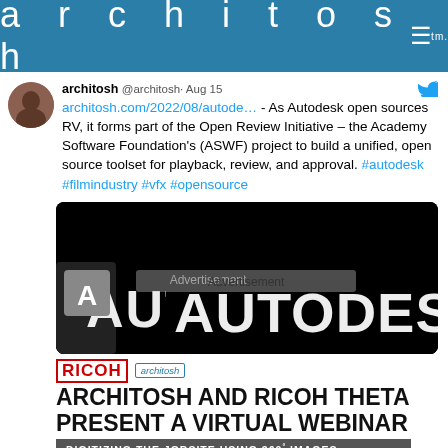architosh tm.
architosh @architosh· Aug 15
architosh.com/2022/08/autode… - As Autodesk open sources RV, it forms part of the Open Review Initiative – the Academy Software Foundation's (ASWF) project to build a unified, open source toolset for playback, review, and approval. #autodesk #filmindustry #vfx #opensource
[Figure (screenshot): Autodesk logo image on black background with partial AUTODESK text in white]
[Figure (advertisement): Advertisement banner: RICOH logo and architosh logo, heading ARCHITOSH AND RICOH THETA PRESENT A VIRTUAL WEBINAR, subtitle DIGITIZING THE JOBSITE USING 360° IMAGES, thumbnail images at bottom]